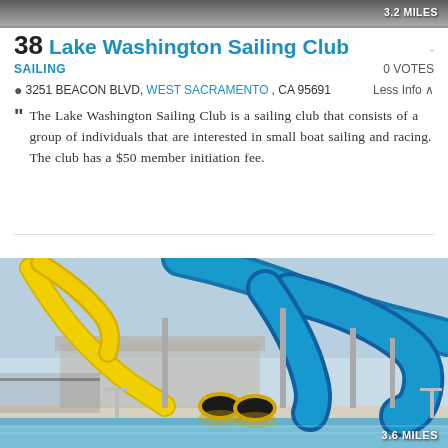[Figure (photo): Top portion of a partially visible photo, dark/grey tones, cropped at top of page]
3.2 MILES
38 Lake Washington Sailing Club
SAILING
0 VOTES
3251 BEACON BLVD, WEST SACRAMENTO, CA 95691   Less Info
The Lake Washington Sailing Club is a sailing club that consists of a group of individuals that are interested in small boat sailing and racing. The club has a $50 member initiation fee.
[Figure (photo): Water park with blue and yellow water slides over a pool, outdoor setting, sunny day]
3.6 MILES